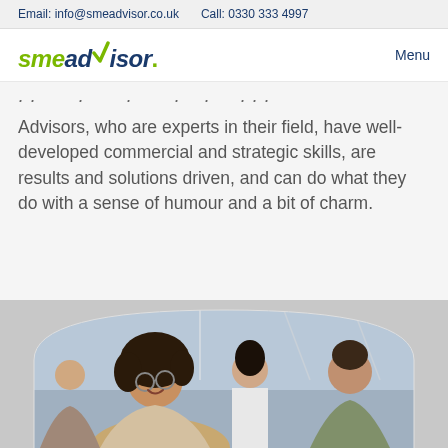Email: info@smeadvisor.co.uk    Call: 0330 333 4997
smeadvisor.   Menu
Advisors, who are experts in their field, have well-developed commercial and strategic skills, are results and solutions driven, and can do what they do with a sense of humour and a bit of charm.
[Figure (photo): Group of business professionals laughing and talking together in a modern workspace setting, with a woman with curly hair and glasses in the foreground]